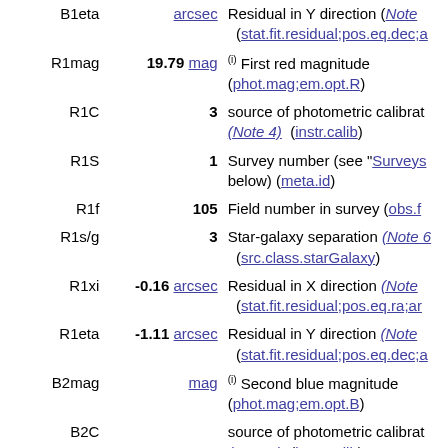| Name | Value | Description |
| --- | --- | --- |
| B1eta | arcsec | Residual in Y direction (Note ...) (stat.fit.residual;pos.eq.dec;a...) |
| R1mag | 19.79 mag | (i) First red magnitude (phot.mag;em.opt.R) |
| R1C | 3 | source of photometric calibrat... (Note 4) (instr.calib) |
| R1S | 1 | Survey number (see "Surveys... below) (meta.id) |
| R1f | 105 | Field number in survey (obs.f...) |
| R1s/g | 3 | Star-galaxy separation (Note 6...) (src.class.starGalaxy) |
| R1xi | -0.16 arcsec | Residual in X direction (Note ...) (stat.fit.residual;pos.eq.ra;ar...) |
| R1eta | -1.11 arcsec | Residual in Y direction (Note ...) (stat.fit.residual;pos.eq.dec;a...) |
| B2mag | mag | (i) Second blue magnitude (phot.mag;em.opt.B) |
| B2C |  | source of photometric calibrat... (Note 4) (instr.calib) |
| B2S |  | Survey number (see "Surveys... below) (meta.id) |
| B2f |  | Field number in survey (obs.f...) |